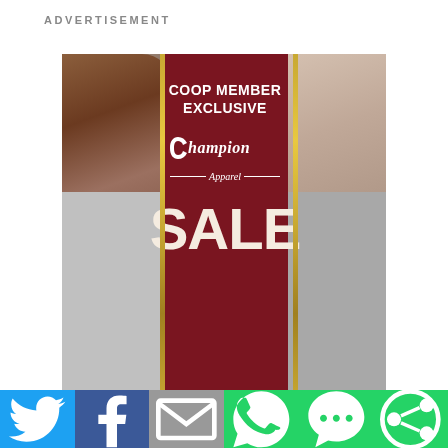ADVERTISEMENT
[Figure (photo): Champion Apparel Sale advertisement showing two models wearing grey Champion sweatshirts on either side of a dark red center banner with gold vertical lines. The banner reads 'COOP MEMBER EXCLUSIVE / Champion Apparel / SALE' in white text.]
[Figure (infographic): Social sharing bar at bottom with Twitter (blue), Facebook (dark blue), Email (grey), WhatsApp (green), SMS (green), and ShareThis (green) buttons with white icons.]